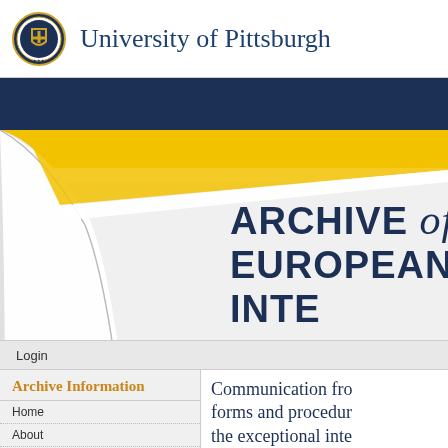University of Pittsburgh
[Figure (logo): University of Pittsburgh seal/crest logo in circular gold and blue design]
ARCHIVE of EUROPEAN INTE
[Figure (illustration): Decorative page-curl graphic with yellow and white stripes on gray background, suggesting a curled page corner]
Login
Archive Information
Home
About
Communication from the forms and procedures the exceptional inte